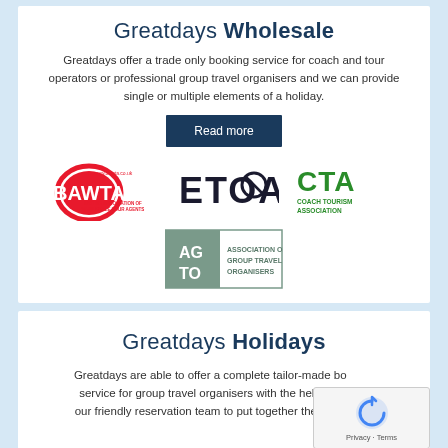Greatdays Wholesale
Greatdays offer a trade only booking service for coach and tour operators or professional group travel organisers and we can provide single or multiple elements of a holiday.
Read more
[Figure (logo): Four association logos: BAWTA (British Association of Wholesale Tour Agents), ETOA, CTA (Coach Tourism Association), AGTO (Association of Group Travel Organisers)]
Greatdays Holidays
Greatdays are able to offer a complete tailor-made booking service for group travel organisers with the help of one of our friendly reservation team to put together the ideal trip...